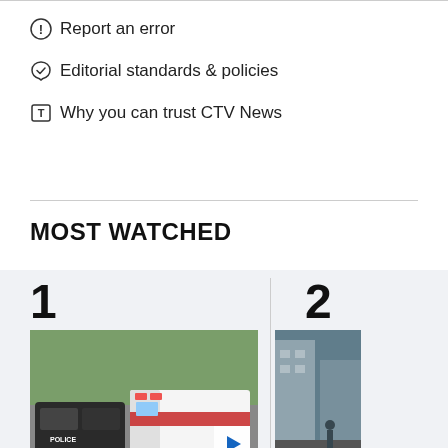Report an error
Editorial standards & policies
Why you can trust CTV News
MOST WATCHED
[Figure (photo): Police car and ambulance parked near trees, news item #1 thumbnail with play button]
New details about West Vancouver wedding crash
[Figure (photo): Street scene, news item #2 thumbnail (partially visible)]
Dead Dowr